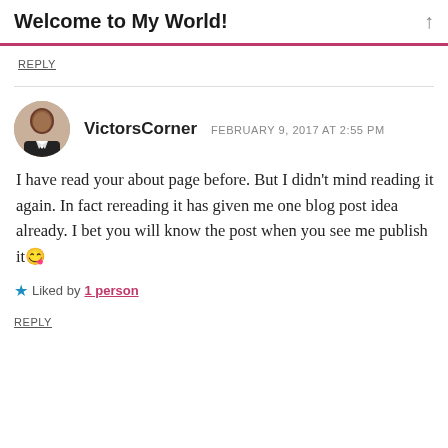Welcome to My World!
REPLY
VictorsCorner  FEBRUARY 9, 2017 AT 2:55 PM

I have read your about page before. But I didn't mind reading it again. In fact rereading it has given me one blog post idea already. I bet you will know the post when you see me publish it😉

★ Liked by 1 person

REPLY